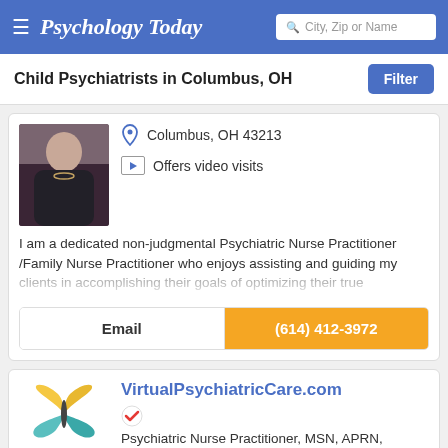Psychology Today  City, Zip or Name
Child Psychiatrists in Columbus, OH
[Figure (photo): Profile photo of a woman in a dark top]
Columbus, OH 43213
Offers video visits
I am a dedicated non-judgmental Psychiatric Nurse Practitioner /Family Nurse Practitioner who enjoys assisting and guiding my clients in accomplishing their goals of optimizing their true
Email
(614) 412-3972
[Figure (logo): Virtual Psychiatric Care butterfly logo with gradient yellow and teal wings]
VirtualPsychiatricCare.com
Psychiatric Nurse Practitioner, MSN, APRN, PMHNP
Columbus, OH 43215
Offers video visits